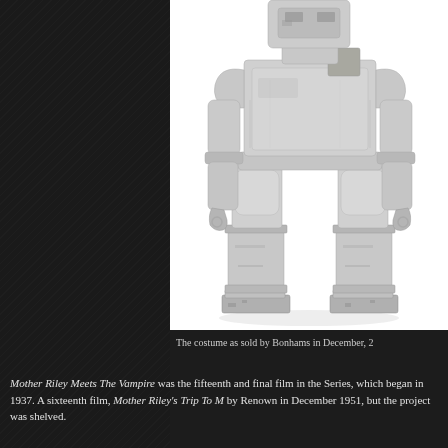[Figure (photo): A robot costume worn by a performer, showing a metallic gray blocky suit with rectangular torso, segmented arms, cylindrical legs and large flat feet. The costume appears aged and worn, photographed against a white background. This is the costume as sold by Bonhams in December.]
The costume as sold by Bonhams in December, 2
Mother Riley Meets The Vampire was the fifteenth and final film in the Series, which began in 1937. A sixteenth film, Mother Riley's Trip To M by Renown in December 1951, but the project was shelved.